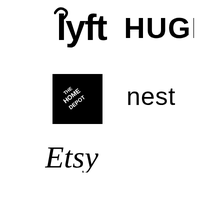[Figure (logo): Lyft logo in black]
[Figure (logo): HUGE logo in black bold uppercase]
[Figure (logo): The Home Depot logo - black square with diagonal white text]
[Figure (logo): nest logo in black lowercase rounded font]
[Figure (logo): Etsy logo in black serif italic font]